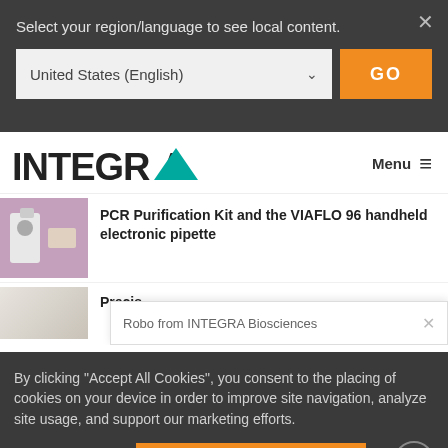Select your region/language to see local content.
United States (English)
GO
[Figure (logo): INTEGRA logo with teal arrow/chevron mark]
Menu ≡
PCR Purification Kit and the VIAFLO 96 handheld electronic pipette
Robo from INTEGRA Biosciences
Precis
By clicking "Accept All Cookies", you consent to the placing of cookies on your device in order to improve site navigation, analyze site usage, and support our marketing efforts.
› Cookie Settings
✓ Accept All Cookies